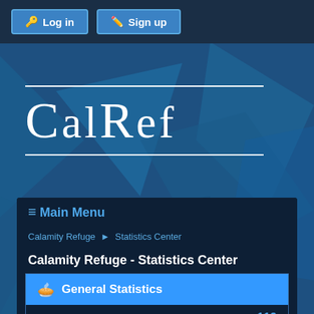🔑 Log in   ✏️ Sign up
[Figure (logo): CalRef website logo with geometric blue polygon background, white serif text 'CalRef' with horizontal rules above and below]
≡ Main Menu
Calamity Refuge ► Statistics Center
Calamity Refuge - Statistics Center
🥧 General Statistics
| Stat | Value |
| --- | --- |
| Total Members: | 119 |